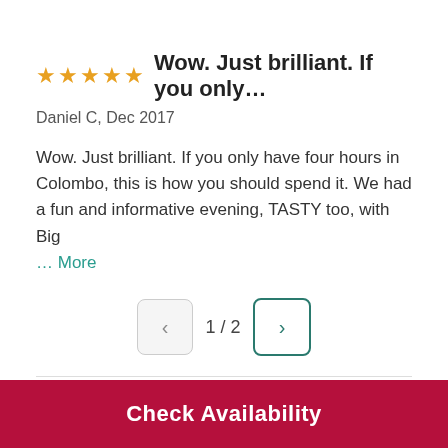★★★★★ Wow. Just brilliant. If you only…
Daniel C, Dec 2017
Wow. Just brilliant. If you only have four hours in Colombo, this is how you should spend it. We had a fun and informative evening, TASTY too, with Big … More
1 / 2
Customers Who Bought This Tour Also
Check Availability